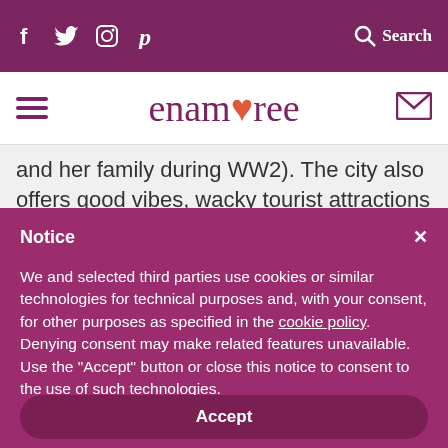f  twitter  instagram  p  Search
enamoree (logo with heart) — hamburger menu and envelope icons
and her family during WW2). The city also offers good vibes, wacky tourist attractions
Notice
We and selected third parties use cookies or similar technologies for technical purposes and, with your consent, for other purposes as specified in the cookie policy. Denying consent may make related features unavailable.
Use the "Accept" button or close this notice to consent to the use of such technologies.
Accept
Learn more and customise